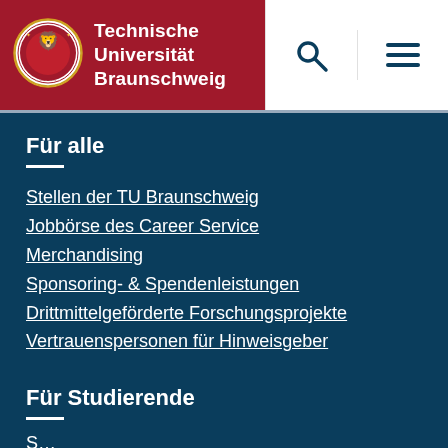[Figure (logo): Technische Universität Braunschweig logo with red background, circular seal and lion emblem]
Technische Universität Braunschweig
Für alle
Stellen der TU Braunschweig
Jobbörse des Career Service
Merchandising
Sponsoring- & Spendenleistungen
Drittmittelgeförderte Forschungsprojekte
Vertrauenspersonen für Hinweisgeber
Für Studierende